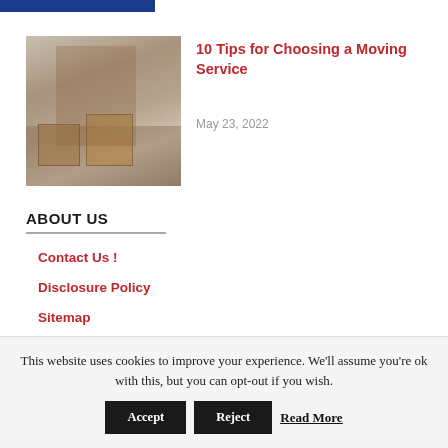[Figure (photo): Blue banner image strip at top of page]
[Figure (photo): Person carrying moving boxes in a room with cardboard boxes]
10 Tips for Choosing a Moving Service
May 23, 2022
ABOUT US
Contact Us !
Disclosure Policy
Sitemap
This website uses cookies to improve your experience. We'll assume you're ok with this, but you can opt-out if you wish.
Accept   Reject   Read More